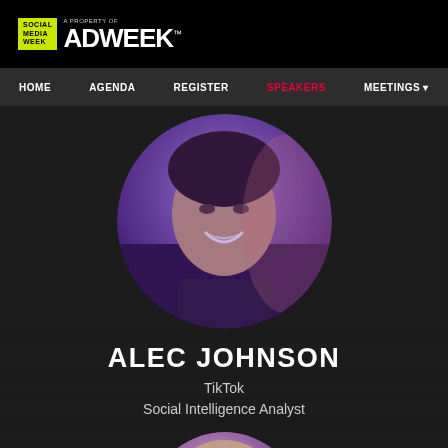[Figure (logo): Social Media Week - A Property of ADWEEK logo in header]
HOME   AGENDA   REGISTER   SPEAKERS   MEETINGS
[Figure (photo): Circular profile photo of Alec Johnson with purple/violet tint overlay]
ALEC JOHNSON
TikTok
Social Intelligence Analyst
[Figure (photo): Partial circular profile photo of second speaker, blonde hair visible, purple tint]